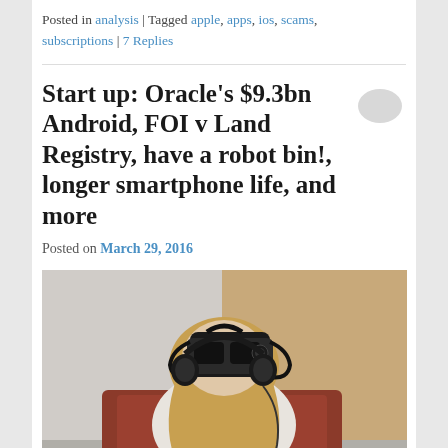Posted in analysis | Tagged apple, apps, ios, scams, subscriptions | 7 Replies
Start up: Oracle's $9.3bn Android, FOI v Land Registry, have a robot bin!, longer smartphone life, and more
Posted on March 29, 2016
[Figure (photo): Person seen from behind wearing a VR headset (Oculus Rift) and headphones, seated in a reddish-brown chair in front of a tan/cardboard-colored wall]